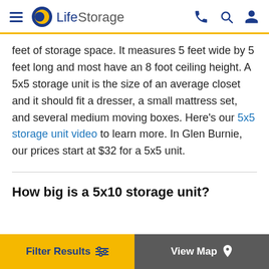LifeStorage
feet of storage space. It measures 5 feet wide by 5 feet long and most have an 8 foot ceiling height. A 5x5 storage unit is the size of an average closet and it should fit a dresser, a small mattress set, and several medium moving boxes. Here's our 5x5 storage unit video to learn more. In Glen Burnie, our prices start at $32 for a 5x5 unit.
How big is a 5x10 storage unit?